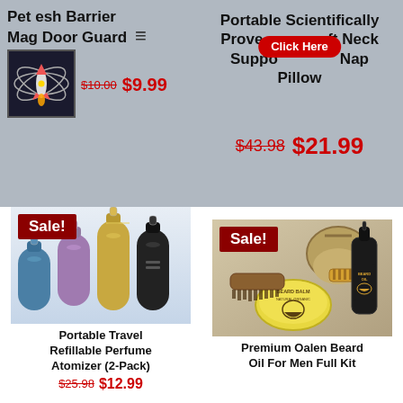Pet Mesh Barrier Mag Door Guard
$10.00 $9.99
Portable Scientifically Proven Soft Neck Support Nap Pillow
$43.98 $21.99
[Figure (photo): Sale! badge with colorful travel perfume atomizer bottles (blue, purple, gold, black) refillable 2-pack]
Portable Travel Refillable Perfume Atomizer (2-Pack)
$25.98 $12.99
[Figure (photo): Sale! badge with premium beard oil kit including beard balm tin, beard oil dropper bottle, comb, brush, and burlap pouch]
Premium Oalen Beard Oil For Men Full Kit